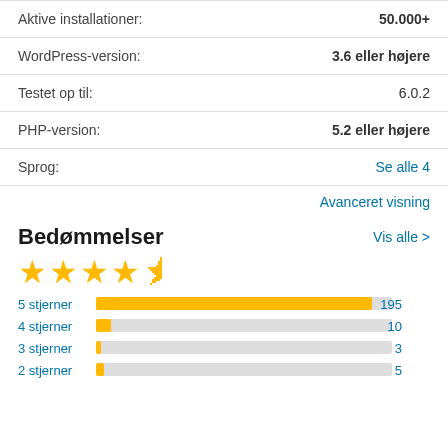| Label | Value |
| --- | --- |
| Aktive installationer: | 50.000+ |
| WordPress-version: | 3.6 eller højere |
| Testet op til: | 6.0.2 |
| PHP-version: | 5.2 eller højere |
| Sprog: | Se alle 4 |
Avanceret visning
Bedømmelser
Vis alle >
[Figure (other): 4.5 star rating shown with yellow stars]
[Figure (bar-chart): Rating distribution]